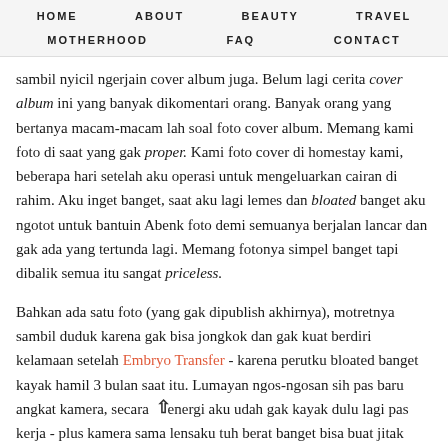HOME   ABOUT   BEAUTY   TRAVEL   MOTHERHOOD   FAQ   CONTACT
sambil nyicil ngerjain cover album juga. Belum lagi cerita cover album ini yang banyak dikomentari orang. Banyak orang yang bertanya macam-macam lah soal foto cover album. Memang kami foto di saat yang gak proper. Kami foto cover di homestay kami, beberapa hari setelah aku operasi untuk mengeluarkan cairan di rahim. Aku inget banget, saat aku lagi lemes dan bloated banget aku ngotot untuk bantuin Abenk foto demi semuanya berjalan lancar dan gak ada yang tertunda lagi. Memang fotonya simpel banget tapi dibalik semua itu sangat priceless.
Bahkan ada satu foto (yang gak dipublish akhirnya), motretnya sambil duduk karena gak bisa jongkok dan gak kuat berdiri kelamaan setelah Embryo Transfer - karena perutku bloated banget kayak hamil 3 bulan saat itu. Lumayan ngos-ngosan sih pas baru angkat kamera, secara energi aku udah gak kayak dulu lagi pas kerja - plus kamera sama lensaku tuh berat banget bisa buat jitak orang. Tapi Alhamdulillah sekarang semuanya udah kelar, huhuhu terharu